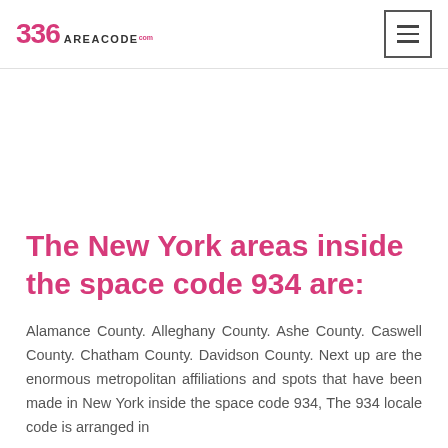336 AREACODE.com
The New York areas inside the space code 934 are:
Alamance County. Alleghany County. Ashe County. Caswell County. Chatham County. Davidson County. Next up are the enormous metropolitan affiliations and spots that have been made in New York inside the space code 934, The 934 locale code is arranged in